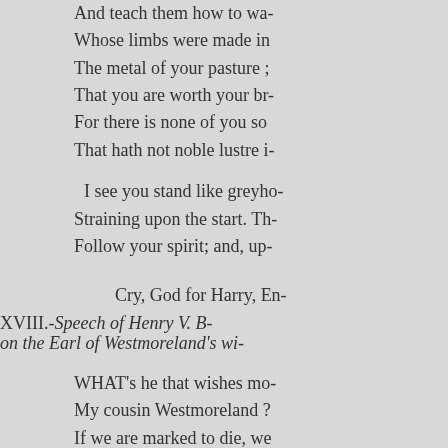And teach them how to wa- / Whose limbs were made in / The metal of your pasture ; / That you are worth your br- / For there is none of you so / That hath not noble lustre i- / I see you stand like greyho- / Straining upon the start. Th- / Follow your spirit; and, up-
Cry, God for Harry, En- / XVIII.-Speech of Henry V. B-
on the Earl of Westmoreland's wi-
WHAT's he that wishes mo- / My cousin Westmoreland ? / If we are marked to die, we / To do our country loss; and / The fewer men, the greater s- / No, no, my Lord; wish not a- / Rather proclaim it, Westmo- / That he who hath no stomac- / May straight depart; his pas- / And...